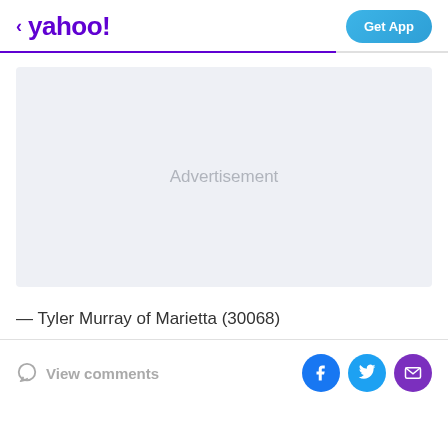< yahoo!  Get App
[Figure (other): Advertisement placeholder box with light grey/blue background and 'Advertisement' text centered]
— Tyler Murray of Marietta (30068)
View comments
[Figure (other): Social sharing icons: Facebook (blue circle), Twitter (light blue circle), Email/Mail (purple circle)]